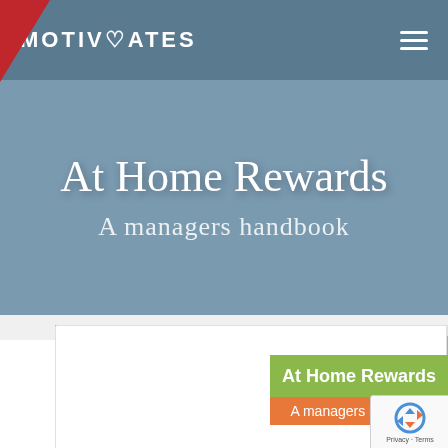MOTIVATES
At Home Rewards
A managers handbook
[Figure (screenshot): Screenshot of a webpage showing 'At Home Rewards - A managers handbook' with a green banner and orange subtitle banner, a person with brown hair in bun on the left, and plant foliage on the right. A reCAPTCHA widget overlays the bottom right with 'Privacy · Terms' text.]